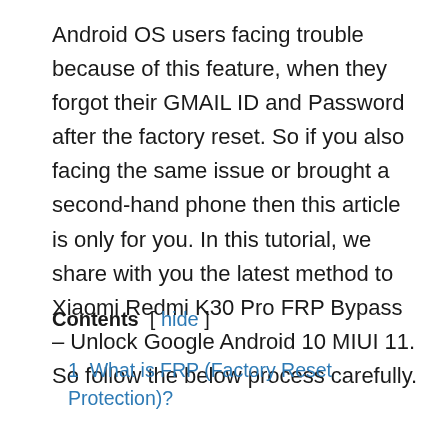Android OS users facing trouble because of this feature, when they forgot their GMAIL ID and Password after the factory reset. So if you also facing the same issue or brought a second-hand phone then this article is only for you. In this tutorial, we share with you the latest method to Xiaomi Redmi K30 Pro FRP Bypass – Unlock Google Android 10 MIUI 11. So follow the below process carefully.
Contents [ hide ]
1 What is FRP (Factory Reset Protection)?